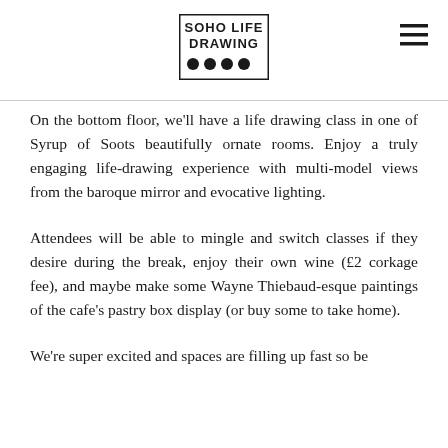SOHO LIFE DRAWING
On the bottom floor, we'll have a life drawing class in one of Syrup of Soots beautifully ornate rooms. Enjoy a truly engaging life-drawing experience with multi-model views from the baroque mirror and evocative lighting.
Attendees will be able to mingle and switch classes if they desire during the break, enjoy their own wine (£2 corkage fee), and maybe make some Wayne Thiebaud-esque paintings of the cafe's pastry box display (or buy some to take home).
We're super excited and spaces are filling up fast so be